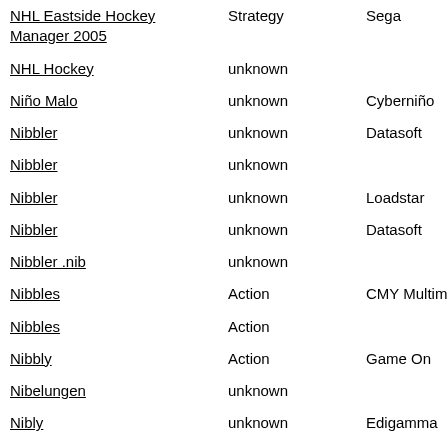| Title | Genre | Publisher |
| --- | --- | --- |
| NHL Eastside Hockey Manager 2005 | Strategy | Sega |
| NHL Hockey | unknown |  |
| Niño Malo | unknown | Cyberniño |
| Nibbler | unknown | Datasoft |
| Nibbler | unknown |  |
| Nibbler | unknown | Loadstar |
| Nibbler | unknown | Datasoft |
| Nibbler .nib | unknown |  |
| Nibbles | Action | CMY Multimedia |
| Nibbles | Action |  |
| Nibbly | Action | Game On |
| Nibelungen | unknown |  |
| Nibly | unknown | Edigamma |
| Nibl... | unknown | Edi... |